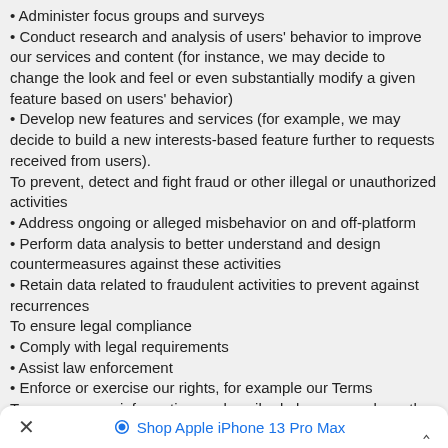• Administer focus groups and surveys
• Conduct research and analysis of users' behavior to improve our services and content (for instance, we may decide to change the look and feel or even substantially modify a given feature based on users' behavior)
• Develop new features and services (for example, we may decide to build a new interests-based feature further to requests received from users).
To prevent, detect and fight fraud or other illegal or unauthorized activities
• Address ongoing or alleged misbehavior on and off-platform
• Perform data analysis to better understand and design countermeasures against these activities
• Retain data related to fraudulent activities to prevent against recurrences
To ensure legal compliance
• Comply with legal requirements
• Assist law enforcement
• Enforce or exercise our rights, for example our Terms
To process your information as described above, we rely on the following legal bases:
• Provide our service to you: Most of the time, the reason we process your information is to perform the contract that you have with us. For instance, as you go about using our service to build meaningful connections, we use your information to maintain your account and your profile, to make it viewable to other users and recommend other users to you.
• Legitimate interests: We may use your information where we have legitimate interests to do so. For instance, we analyze users' behavior on our services to continuously improve our offerings, we suggest offers we think
✕   🛡 Shop Apple iPhone 13 Pro Max   ˄